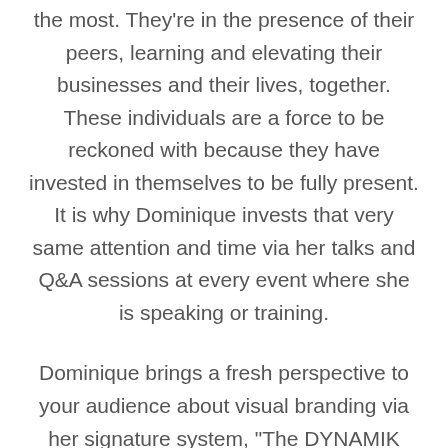the most. They're in the presence of their peers, learning and elevating their businesses and their lives, together. These individuals are a force to be reckoned with because they have invested in themselves to be fully present. It is why Dominique invests that very same attention and time via her talks and Q&A sessions at every event where she is speaking or training.
Dominique brings a fresh perspective to your audience about visual branding via her signature system, "The DYNAMIK Method." Dominique created this system to expose her